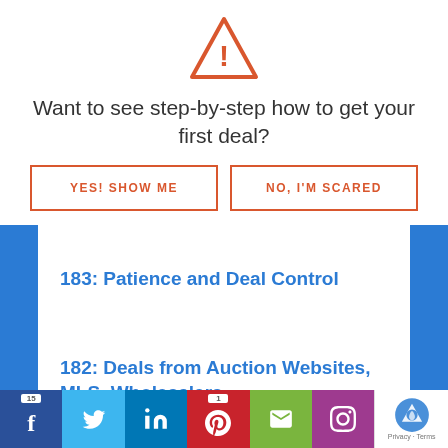[Figure (illustration): Orange/red warning triangle icon with exclamation mark]
Want to see step-by-step how to get your first deal?
YES! SHOW ME
NO, I'M SCARED
183: Patience and Deal Control
182: Deals from Auction Websites, MLS, Wholesalers
15 [Facebook] [Twitter] [LinkedIn] 1 [Pinterest] [Email] [Instagram] [reCAPTCHA Privacy - Terms]